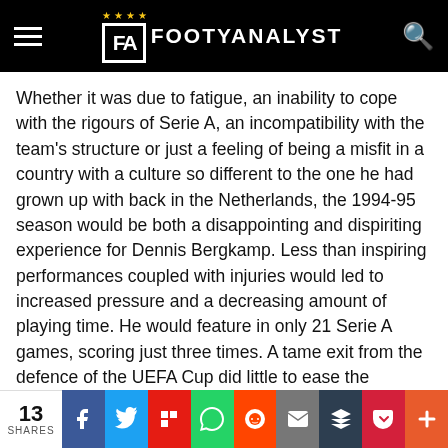FOOTYANALYST
Whether it was due to fatigue, an inability to cope with the rigours of Serie A, an incompatibility with the team's structure or just a feeling of being a misfit in a country with a culture so different to the one he had grown up with back in the Netherlands, the 1994-95 season would be both a disappointing and dispiriting experience for Dennis Bergkamp. Less than inspiring performances coupled with injuries would led to increased pressure and a decreasing amount of playing time. He would feature in only 21 Serie A games, scoring just three times. A tame exit from the defence of the UEFA Cup did little to ease the pressure.
The British press is often criticised for lauding and defaming players with little regard for any middle ground or vague
13 SHARES | Facebook | Twitter | Flipboard | WhatsApp | Reddit | Email | Buffer | Pocket | More